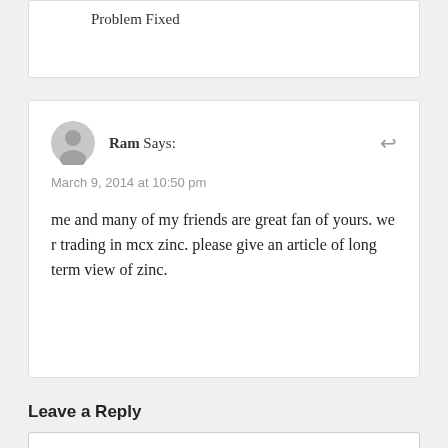Problem Fixed
Ram Says:
March 9, 2014 at 10:50 pm

me and many of my friends are great fan of yours. we r trading in mcx zinc. please give an article of long term view of zinc.
Leave a Reply
Enter your comment here...